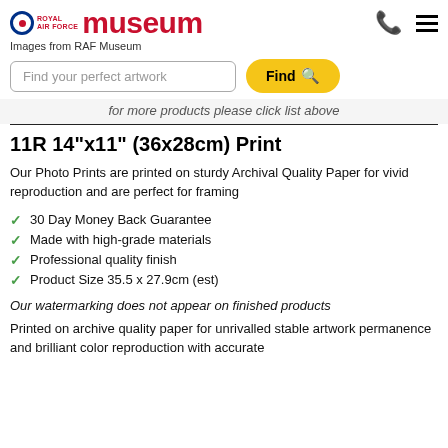Royal Air Force Museum — Images from RAF Museum
Find your perfect artwork
for more products please click list above
11R 14"x11" (36x28cm) Print
Our Photo Prints are printed on sturdy Archival Quality Paper for vivid reproduction and are perfect for framing
30 Day Money Back Guarantee
Made with high-grade materials
Professional quality finish
Product Size 35.5 x 27.9cm (est)
Our watermarking does not appear on finished products
Printed on archive quality paper for unrivalled stable artwork permanence and brilliant color reproduction with accurate